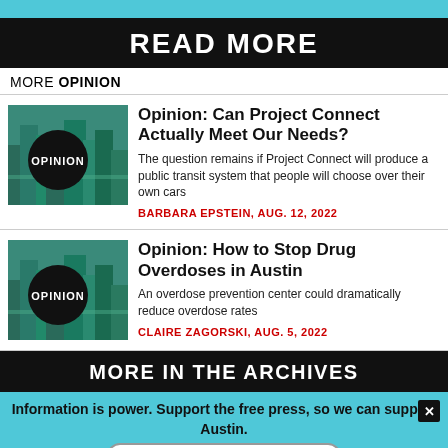SUPPORT THE CHRONICLE
READ MORE
MORE OPINION
[Figure (illustration): Aerial city photo with OPINION circle overlay]
Opinion: Can Project Connect Actually Meet Our Needs?
The question remains if Project Connect will produce a public transit system that people will choose over their own cars
BARBARA EPSTEIN, AUG. 12, 2022
[Figure (illustration): Aerial city photo with OPINION circle overlay]
Opinion: How to Stop Drug Overdoses in Austin
An overdose prevention center could dramatically reduce overdose rates
CLAIRE ZAGORSKI, AUG. 5, 2022
MORE IN THE ARCHIVES
Information is power. Support the free press, so we can support Austin.
SUPPORT THE CHRONICLE